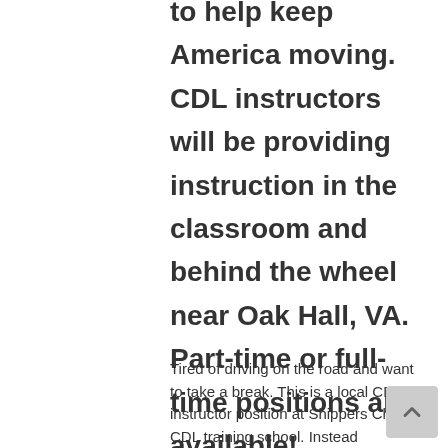to help keep America moving. CDL instructors will be providing instruction in the classroom and behind the wheel near Oak Hall, VA. Part-time or full-time positions are available!
Tired of driving on the road and want to take a break. This is a local CDL instructor position at Shippers Choice CDL training school. Instead of driving...